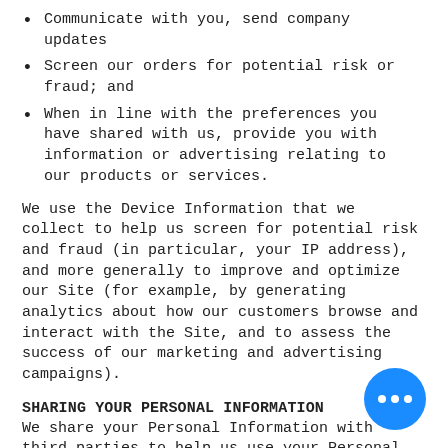Communicate with you, send company updates
Screen our orders for potential risk or fraud; and
When in line with the preferences you have shared with us, provide you with information or advertising relating to our products or services.
We use the Device Information that we collect to help us screen for potential risk and fraud (in particular, your IP address), and more generally to improve and optimize our Site (for example, by generating analytics about how our customers browse and interact with the Site, and to assess the success of our marketing and advertising campaigns).
SHARING YOUR PERSONAL INFORMATION
We share your Personal Information with third parties to help us use your Personal Information, as described above.  For example, we use Google Analytics to help us understand how our customers use the Site--you can read more about how Google uses your Personal Information here:
http://www.google.com/intl/en/policies/privacy/